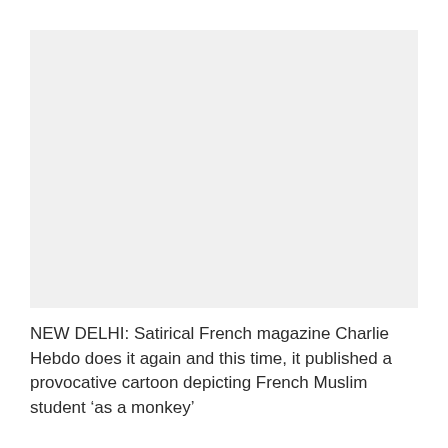[Figure (photo): Large rectangular placeholder image area with light grey background, representing a photo related to the article about Charlie Hebdo cartoon.]
NEW DELHI: Satirical French magazine Charlie Hebdo does it again and this time, it published a provocative cartoon depicting French Muslim student ‘as a monkey’